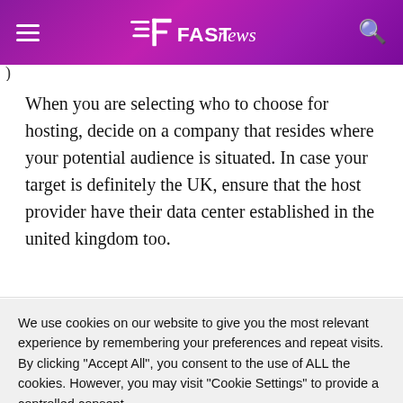FAST news
When you are selecting who to choose for hosting, decide on a company that resides where your potential audience is situated. In case your target is definitely the UK, ensure that the host provider have their data center established in the united kingdom too.
We use cookies on our website to give you the most relevant experience by remembering your preferences and repeat visits. By clicking "Accept All", you consent to the use of ALL the cookies. However, you may visit "Cookie Settings" to provide a controlled consent.